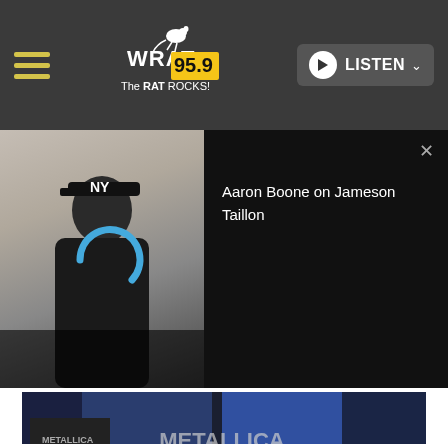WRAT 95.9 The RAT ROCKS! — LISTEN
[Figure (screenshot): Aaron Boone press conference photo with a loading spinner overlay; title reads 'Aaron Boone on Jameson Taillon' on dark panel to the right]
[Figure (photo): Metallica Rock and Roll Hall of Fame induction ceremony: band members in formal attire on stage at a podium with blue Metallica backdrop and album art displays]